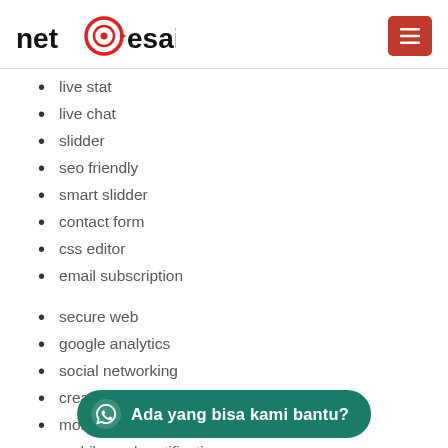[Figure (logo): netdesain logo with red circular target icon between 'net' and 'esain' text]
live stat
live chat
slidder
seo friendly
smart slidder
contact form
css editor
email subscription
secure web
google analytics
social networking
creative f[...]
monitoring site activity
mobile push notification
Ada yang bisa kami bantu?